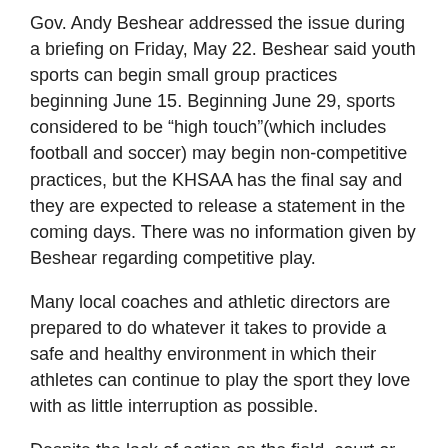Gov. Andy Beshear addressed the issue during a briefing on Friday, May 22. Beshear said youth sports can begin small group practices beginning June 15. Beginning June 29, sports considered to be “high touch”(which includes football and soccer) may begin non-competitive practices, but the KHSAA has the final say and they are expected to release a statement in the coming days. There was no information given by Beshear regarding competitive play.
Many local coaches and athletic directors are prepared to do whatever it takes to provide a safe and healthy environment in which their athletes can continue to play the sport they love with as little interruption as possible.
Despite the lack of action on the field, court or course, local coaches have been just as busy, and because of these limitations, most coaches have begun to prepare for the upcoming season in unconventional ways.
During this extended dead period players cannot receive instruction from coaches in person, so David Buchanan, head coach of the Mercer County Titan football team, is preparing for the upcoming season by communicating workouts to his players